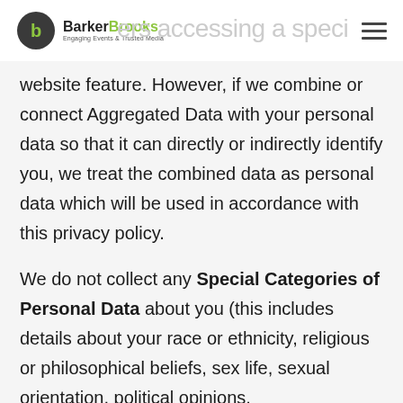BarkerBrooks — Engaging Events & Trusted Media
website feature. However, if we combine or connect Aggregated Data with your personal data so that it can directly or indirectly identify you, we treat the combined data as personal data which will be used in accordance with this privacy policy.
We do not collect any Special Categories of Personal Data about you (this includes details about your race or ethnicity, religious or philosophical beliefs, sex life, sexual orientation, political opinions,